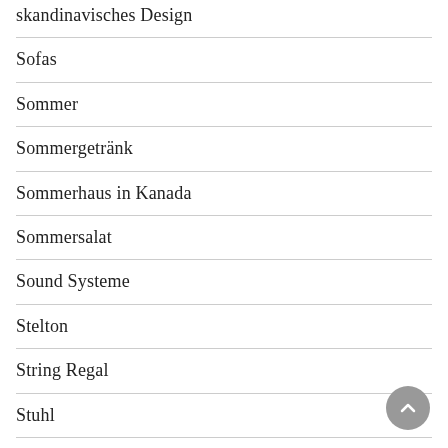skandinavisches Design
Sofas
Sommer
Sommergetränk
Sommerhaus in Kanada
Sommersalat
Sound Systeme
Stelton
String Regal
Stuhl
Swedese
Taika